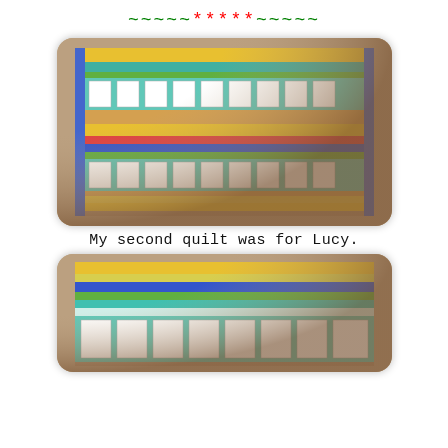~~~~~*****~~~~~
[Figure (photo): A colorful striped quilt with princess/fairy embroidered squares, featuring blue, yellow, green, teal, and orange fabric strips, bordered in blue.]
My second quilt was for Lucy.
[Figure (photo): Close-up of the bottom portion of the same or similar quilt showing colorful horizontal stripes in yellow, blue, green, teal with embroidered squares at the bottom.]